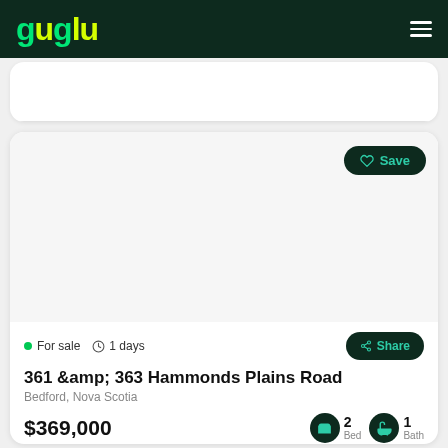guglu
[Figure (screenshot): Partial view of a property listing card above, mostly white/empty]
[Figure (photo): Property listing image area (blank/white)]
For sale  1 days
361 &amp; 363 Hammonds Plains Road
Bedford, Nova Scotia
$369,000  2 Bed  1 Bath